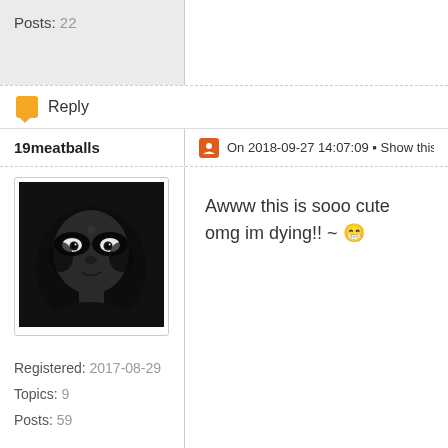Posts: 22
Reply
19meatballs
On 2018-09-27 14:07:09 □ Show this Author O
[Figure (photo): Black and white portrait photo of a person with dark face paint/makeup, bindi on forehead, dramatic shadowed eye makeup]
Registered: 2017-08-29
Topics: 9
Posts: 59
Awww this is sooo cute omg im dying!! ~ 😁